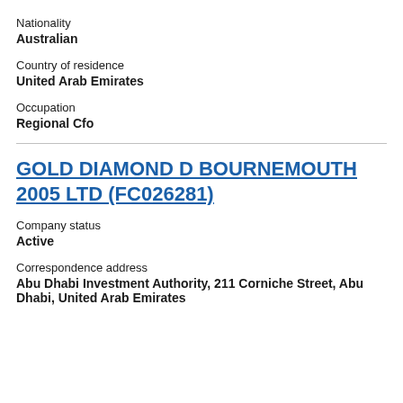Nationality
Australian
Country of residence
United Arab Emirates
Occupation
Regional Cfo
GOLD DIAMOND D BOURNEMOUTH 2005 LTD (FC026281)
Company status
Active
Correspondence address
Abu Dhabi Investment Authority, 211 Corniche Street, Abu Dhabi, United Arab Emirates